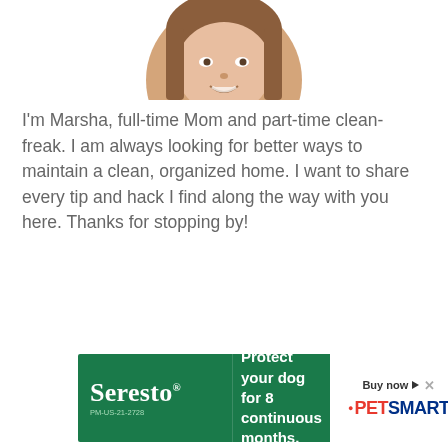[Figure (photo): Circular cropped photo of a woman (Marsha) showing face and upper portion, brown hair, smiling expression, partial top of circle visible]
I'm Marsha, full-time Mom and part-time clean-freak. I am always looking for better ways to maintain a clean, organized home. I want to share every tip and hack I find along the way with you here. Thanks for stopping by!
[Figure (infographic): Seresto advertisement banner: green background on left with 'Seresto' logo and text 'Protect your dog for 8 continuous months.' White right panel with 'Buy now' arrow and PetSmart logo. PM-US-21-2726 code at bottom.]